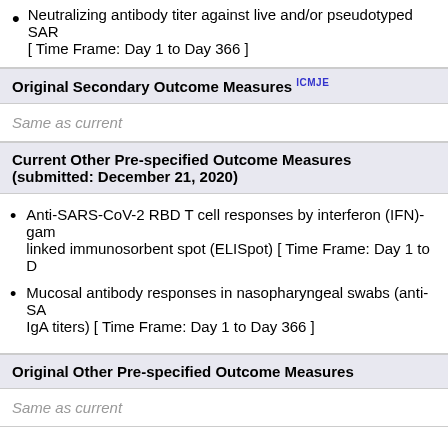Neutralizing antibody titer against live and/or pseudotyped SAR... [ Time Frame: Day 1 to Day 366 ]
Original Secondary Outcome Measures ICMJE
Same as current
Current Other Pre-specified Outcome Measures (submitted: December 21, 2020)
Anti-SARS-CoV-2 RBD T cell responses by interferon (IFN)-gam... linked immunosorbent spot (ELISpot) [ Time Frame: Day 1 to D...
Mucosal antibody responses in nasopharyngeal swabs (anti-SA... IgA titers) [ Time Frame: Day 1 to Day 366 ]
Original Other Pre-specified Outcome Measures
Same as current